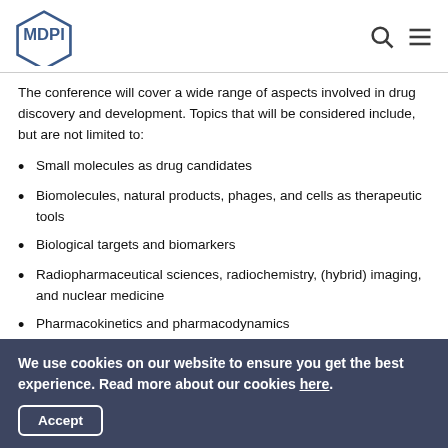MDPI
The conference will cover a wide range of aspects involved in drug discovery and development. Topics that will be considered include, but are not limited to:
Small molecules as drug candidates
Biomolecules, natural products, phages, and cells as therapeutic tools
Biological targets and biomarkers
Radiopharmaceutical sciences, radiochemistry, (hybrid) imaging, and nuclear medicine
Pharmacokinetics and pharmacodynamics
We use cookies on our website to ensure you get the best experience. Read more about our cookies here.